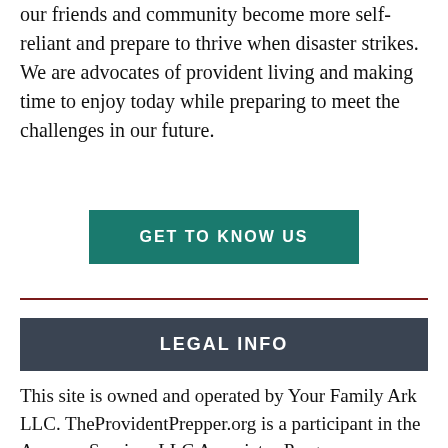our friends and community become more self-reliant and prepare to thrive when disaster strikes. We are advocates of provident living and making time to enjoy today while preparing to meet the challenges in our future.
GET TO KNOW US
LEGAL INFO
This site is owned and operated by Your Family Ark LLC. TheProvidentPrepper.org is a participant in the Amazon Services LLC Associates Program, an affiliate advertising program designed to provide a means for sites to earn advertising fees by advertising and linking to Amazon.com. This site also participates in other affiliate programs and is